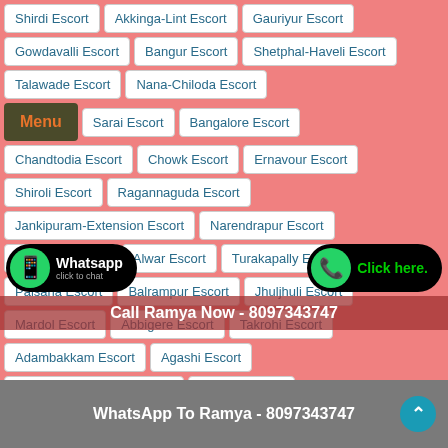Gowdavalli Escort
Bangur Escort
Shetphal-Haveli Escort
Talawade Escort
Nana-Chiloda Escort
Sarai Escort
Bangalore Escort
Chandtodia Escort
Chowk Escort
Ernavour Escort
Shiroli Escort
Ragannaguda Escort
Jankipuram-Extension Escort
Narendrapur Escort
Saifabad Escort
Alwar Escort
Turakapally Escort
Palsana Escort
Balrampur Escort
Jhuljhuli Escort
Mardol Escort
Abbigere Escort
Takrohi Escort
Adambakkam Escort
Agashi Escort
Hsr-Layout-Sector-7 Escort
Arekere Escort
Darvaza Escort
Bandlaguda-Jagir Escort
Call Ramya Now - 8097343747
WhatsApp To Ramya - 8097343747